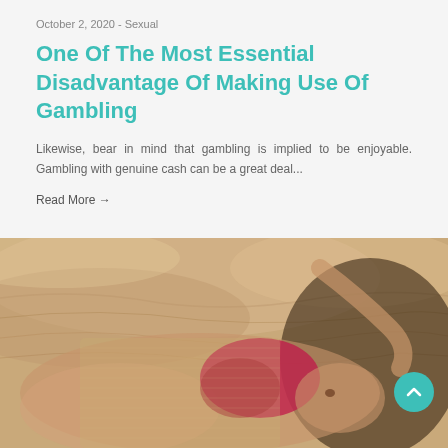October 2, 2020 - Sexual
One Of The Most Essential Disadvantage Of Making Use Of Gambling
Likewise, bear in mind that gambling is implied to be enjoyable. Gambling with genuine cash can be a great deal...
Read More →
[Figure (photo): A woman in red lingerie lying on sandy/fabric surface]